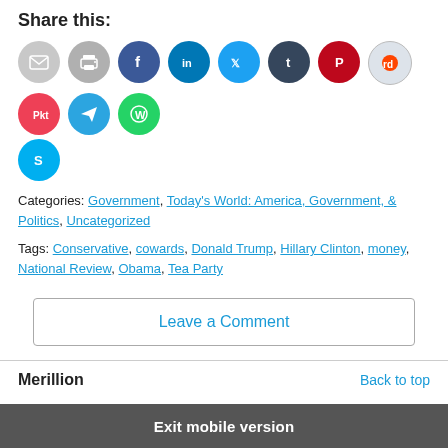Share this:
[Figure (infographic): Row of social media sharing icon circles: email (grey), print (grey), Facebook (blue), LinkedIn (dark blue), Twitter (light blue), Tumblr (dark navy), Pinterest (red), Reddit (light grey/red), Pocket (red), Telegram (blue), WhatsApp (green), Skype (blue)]
Categories: Government, Today's World: America, Government, & Politics, Uncategorized
Tags: Conservative, cowards, Donald Trump, Hillary Clinton, money, National Review, Obama, Tea Party
Leave a Comment
Merillion
Back to top
Exit mobile version